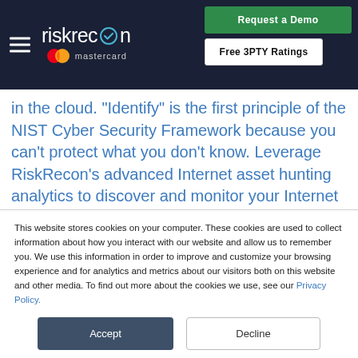[Figure (logo): RiskRecon by Mastercard logo with hamburger menu, Request a Demo (green button) and Free 3PTY Ratings (white button) in dark navy header bar]
in the cloud. "Identify" is the first principle of the NIST Cyber Security Framework because you can't protect what you don't know. Leverage RiskRecon's advanced Internet asset hunting analytics to discover and monitor your Internet assets.
This website stores cookies on your computer. These cookies are used to collect information about how you interact with our website and allow us to remember you. We use this information in order to improve and customize your browsing experience and for analytics and metrics about our visitors both on this website and other media. To find out more about the cookies we use, see our Privacy Policy.